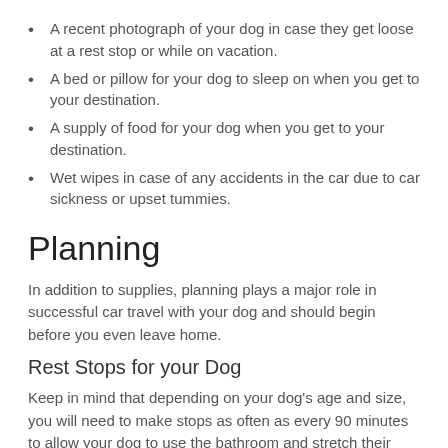A recent photograph of your dog in case they get loose at a rest stop or while on vacation.
A bed or pillow for your dog to sleep on when you get to your destination.
A supply of food for your dog when you get to your destination.
Wet wipes in case of any accidents in the car due to car sickness or upset tummies.
Planning
In addition to supplies, planning plays a major role in successful car travel with your dog and should begin before you even leave home.
Rest Stops for your Dog
Keep in mind that depending on your dog's age and size, you will need to make stops as often as every 90 minutes to allow your dog to use the bathroom and stretch their legs. To make these stops as dog-friendly as possible, you should map them out at rest areas where there are designated dog areas.